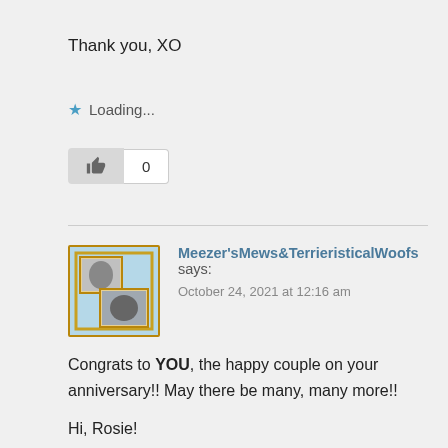Thank you, XO
Loading...
0
Meezer'sMews&TerrieristicalWoofs says:
October 24, 2021 at 12:16 am
Congrats to YOU, the happy couple on your anniversary!! May there be many, many more!!
Hi, Rosie!